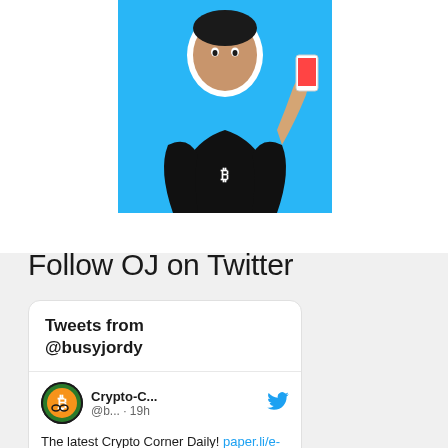[Figure (photo): Person in black t-shirt holding a phone, shown against a light blue background, cropped at top of page]
Follow OJ on Twitter
Tweets from @busyjordy
Crypto-C... @b... · 19h
The latest Crypto Corner Daily! paper.li/e-1517017825?s… #bitcoin #cryptocurrencies